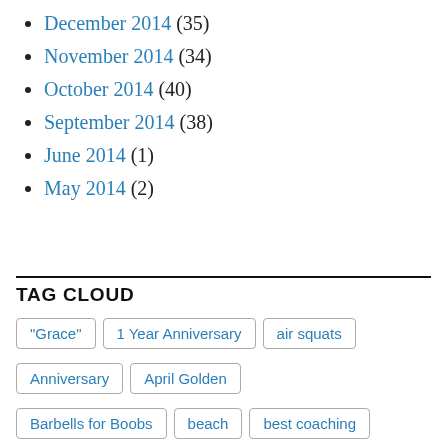December 2014 (35)
November 2014 (34)
October 2014 (40)
September 2014 (38)
June 2014 (1)
May 2014 (2)
TAG CLOUD
"Grace"  1 Year Anniversary  air squats  Anniversary  April Golden  Barbells for Boobs  beach  best coaching